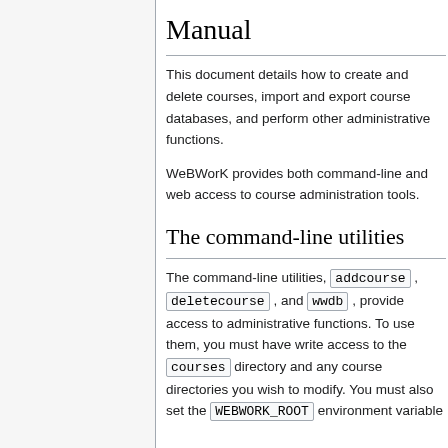Manual
This document details how to create and delete courses, import and export course databases, and perform other administrative functions.
WeBWorK provides both command-line and web access to course administration tools.
The command-line utilities
The command-line utilities, addcourse , deletecourse , and wwdb , provide access to administrative functions. To use them, you must have write access to the courses directory and any course directories you wish to modify. You must also set the WEBWORK_ROOT environment variable